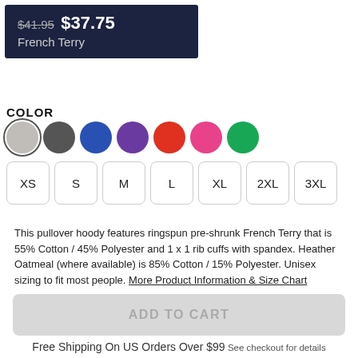$41.95 $37.75 French Terry
COLOR
[Figure (other): Color swatches: light gray (selected), dark gray, blue, purple, red, pink, green]
[Figure (other): Size selector buttons: XS, S, M, L, XL, 2XL, 3XL]
This pullover hoody features ringspun pre-shrunk French Terry that is 55% Cotton / 45% Polyester and 1 x 1 rib cuffs with spandex. Heather Oatmeal (where available) is 85% Cotton / 15% Polyester. Unisex sizing to fit most people. More Product Information & Size Chart
ADD TO CART
Free Shipping On US Orders Over $99 See checkout for details (excluding Shoes, Skateboards, and some Wall Art)